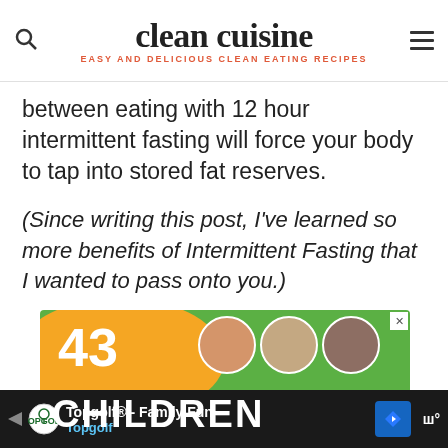clean cuisine — EASY AND DELICIOUS CLEAN EATING RECIPES
between eating with 12 hour intermittent fasting will force your body to tap into stored fat reserves.
(Since writing this post, I've learned so more benefits of Intermittent Fasting that I wanted to pass onto you.)
[Figure (advertisement): Advertisement banner showing '43 CHILDREN' text with orange blob shape containing the number 43, green background, three children's photos in circles, and a close X button]
[Figure (advertisement): Bottom dark bar showing Topgolf advertisement: 'Topgolf® - Family Fun' with Topgolf logo, blue navigation arrow icon, and W° icon on the right]